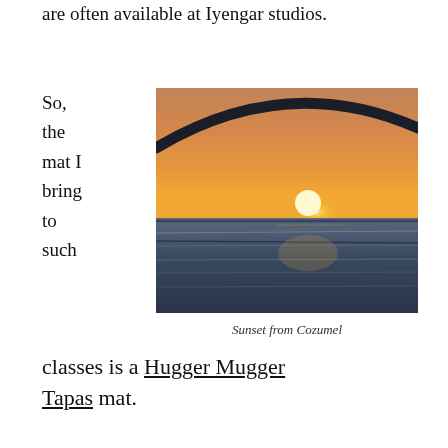are often available at Iyengar studios.
So, the mat I bring to such
[Figure (photo): Sunset photograph taken from Cozumel, showing the sun setting over the ocean with a curved dark arc (boat rail or structure) in the upper portion of the frame. The sky is orange and golden.]
Sunset from Cozumel
classes is a Hugger Mugger Tapas mat.